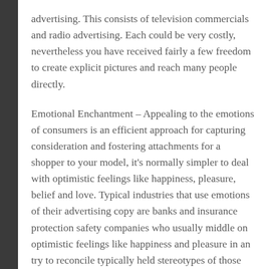advertising. This consists of television commercials and radio advertising. Each could be very costly, nevertheless you have received fairly a few freedom to create explicit pictures and reach many people directly.
Emotional Enchantment – Appealing to the emotions of consumers is an efficient approach for capturing consideration and fostering attachments for a shopper to your model, it's normally simpler to deal with optimistic feelings like happiness, pleasure, belief and love. Typical industries that use emotions of their advertising copy are banks and insurance protection safety companies who usually middle on optimistic feelings like happiness and pleasure in an try to reconcile typically held stereotypes of those industries as firm mega powers. The Good – emotional appeals mix with almost every enchantment very effectively, stands out as